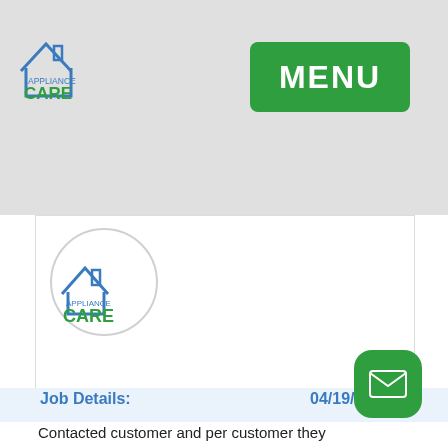[Figure (logo): Appliance Care logo with house icon, top-left of header]
[Figure (screenshot): Green MENU button in top-right corner]
[Figure (screenshot): Green Schedule Contact button with calendar icon]
[Figure (logo): Appliance Care logo in circular frame inside white card]
[Figure (screenshot): Blue square avatar with letter S]
Job Details:
04/19/20
Contacted customer and per customer they
[Figure (screenshot): Green email/envelope FAB button in bottom-right corner]